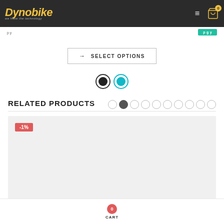[Figure (screenshot): Dynobike e-commerce website header with logo, hamburger menu, and cart icon]
SELECT OPTIONS
[Figure (other): Two color selector dots: black and teal]
RELATED PRODUCTS
[Figure (other): Carousel navigation dots, second dot active]
[Figure (other): Product card with -1% discount badge on light gray background]
CART